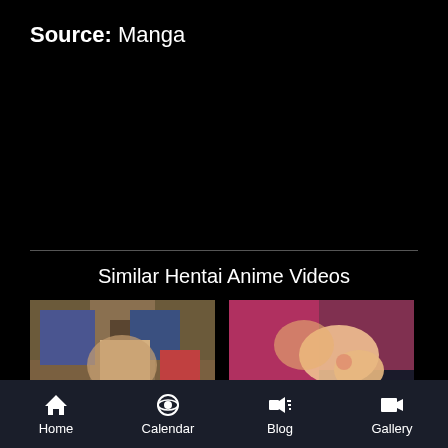Source: Manga
Similar Hentai Anime Videos
[Figure (screenshot): Two animated thumbnail images side by side showing anime scenes]
Home | Calendar | Blog | Gallery